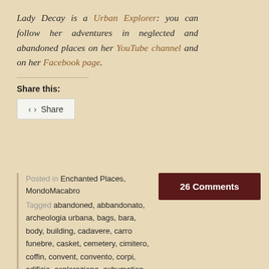Lady Decay is a Urban Explorer: you can follow her adventures in neglected and abandoned places on her YouTube channel and on her Facebook page.
Share this:
Posted in Enchanted Places, MondoMacabro
Tagged abandoned, abbandonato, archeologia urbana, bags, bara, body, building, cadavere, carro funebre, casket, cemetery, cimitero, coffin, convent, convento, corpi, edificio, esplorazione, exhumation, explorer, fantasma, ghost, graveyard, hearse, human remains, lady decay, macabre, macabro, monastery, religioso, religious, resti umani, riesumazione, urban archeaology, urban exploration, urbex, urbexer
26 Comments